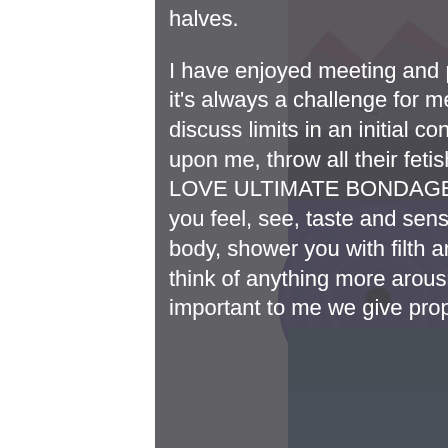halves.

I have enjoyed meeting and playing with every single person. That said, it's always a challenge for me when I receive subs who, after we discuss limits in an initial consultation, upon meeting/feasting their eyes upon me, throw all their fetishes out the window... I mean, I fucking LOVE ULTIMATE BONDAGE – entrusting in me TOTAL reign over what you feel, see, taste and sense – maybe I will blindfold you, tease your body, shower you with filth and sprinkle you with pretty glitter. I couldn't think of anything more arousing for myself !! However, it is also important to me we give proper attention to your
[Figure (photo): Right side of the page shows a decorative background with a landscape (mountains/water) at the top and a large purple vinyl record in the lower portion.]